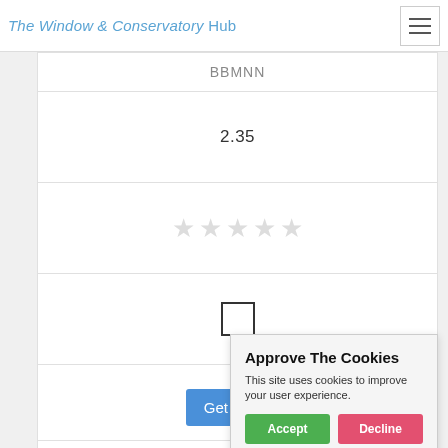The Window & Conservatory Hub
BBMNN
2.35
[Figure (other): Five empty star rating icons in light grey]
[Figure (other): Empty checkbox (square outline)]
Get a Quote button (partially visible)
Approve The Cookies
This site uses cookies to improve your user experience.
Accept | Decline
Cookie policy
Dalesway Windows Ltd
16 Smithies Lane, Birstall, Batley, West Yorkshire, WF17 9EB